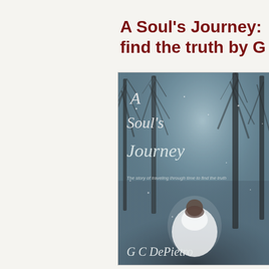A Soul's Journey: find the truth by G...
[Figure (photo): Book cover of 'A Soul's Journey: The story of traveling through time to find the truth' by G C DePietro. Shows a misty forest scene with bare trees and a ghostly female figure in white in the foreground. The title and author name are written in italic script.]